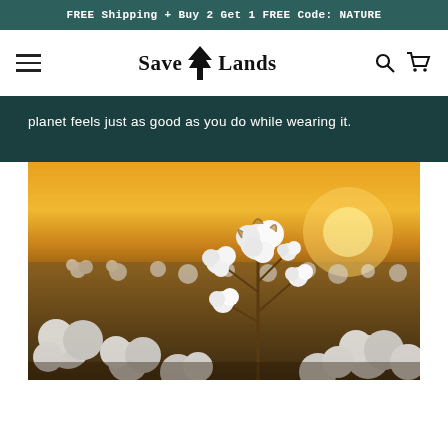FREE Shipping + Buy 2 Get 1 FREE Code: NATURE
[Figure (logo): Save Lands logo with a tree icon between 'Save' and 'Lands']
planet feels just as good as you do while wearing it.
[Figure (photo): Close-up photograph of a cotton field at sunset with fluffy white cotton bolls on branches, warm golden light in the background]